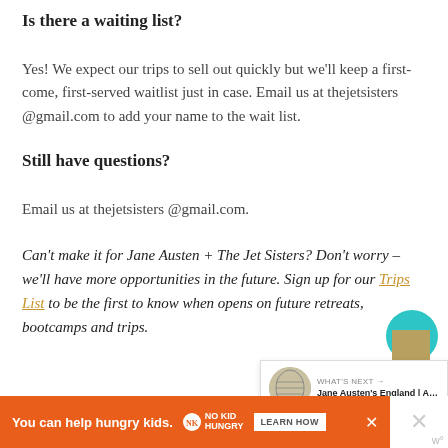Is there a waiting list?
Yes! We expect our trips to sell out quickly but we'll keep a first-come, first-served waitlist just in case. Email us at thejetsisters @gmail.com to add your name to the wait list.
Still have questions?
Email us at thejetsisters @gmail.com.
Can't make it for Jane Austen + The Jet Sisters? Don't worry – we'll have more opportunities in the future. Sign up for our Trips List to be the first to know when opens on future retreats, bootcamps and trips.